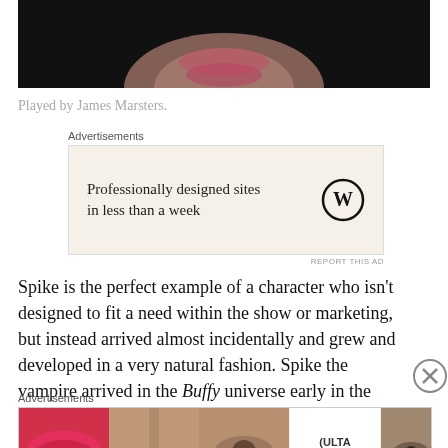[Figure (photo): Bottom portion of a person's face on dark background, showing lips and chin area]
Played by James Marsters.
[Figure (screenshot): Advertisement: Professionally designed sites in less than a week — WordPress logo]
Spike is the perfect example of a character who isn't designed to fit a need within the show or marketing, but instead arrived almost incidentally and grew and developed in a very natural fashion. Spike the vampire arrived in the Buffy universe early in the second series
[Figure (screenshot): Ulta Beauty advertisement banner with makeup imagery and SHOP NOW call to action]